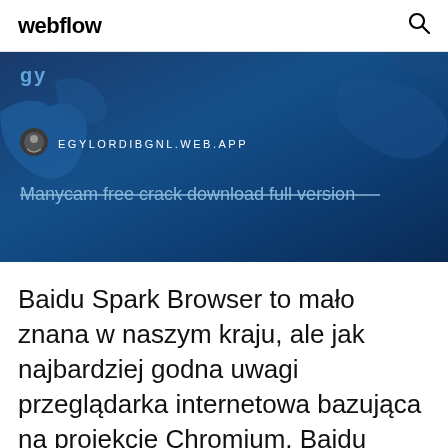webflow
[Figure (screenshot): Blue world map background with browser URL bar showing EGYLORDIBGNL.WEB.APP and strikethrough text 'Manycam free crack download full version']
Baidu Spark Browser to mało znana w naszym kraju, ale jak najbardziej godna uwagi przeglądarka internetowa bazująca na projekcie Chromium. Baidu Spark Browser is a blazing-fast, free Web browser based on Chromium with